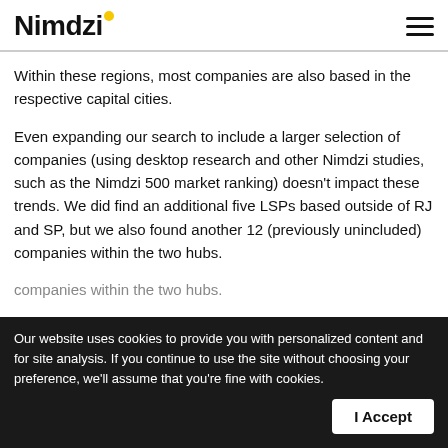Nimdzi
Within these regions, most companies are also based in the respective capital cities.
Even expanding our search to include a larger selection of companies (using desktop research and other Nimdzi studies, such as the Nimdzi 500 market ranking) doesn't impact these trends. We did find an additional five LSPs based outside of RJ and SP, but we also found another 12 (previously unincluded) companies within the two hubs.
Our website uses cookies to provide you with personalized content and for site analysis. If you continue to use the site without choosing your preference, we'll assume that you're fine with cookies.